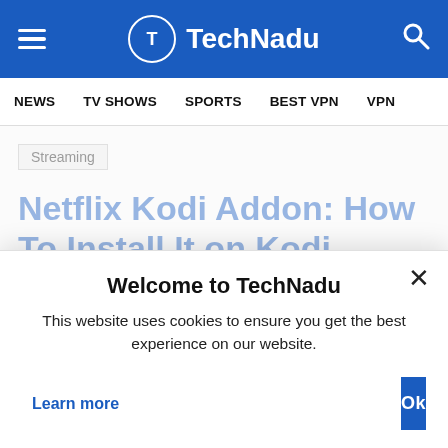TechNadu
NEWS   TV SHOWS   SPORTS   BEST VPN   VPN
Streaming
Netflix Kodi Addon: How To Install It on Kodi
By: Novak Pozevic / January 15, 2022
Welcome to TechNadu
This website uses cookies to ensure you get the best experience on our website.
Learn more
Ok